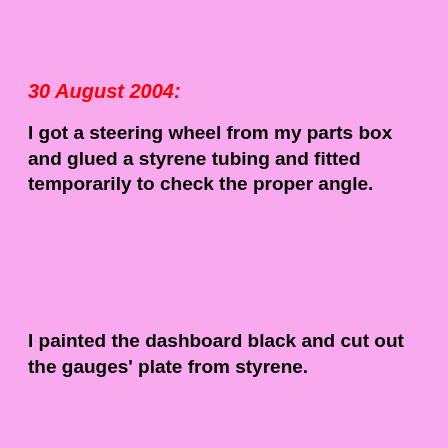30 August 2004:
I got a steering wheel from my parts box and glued a styrene tubing and fitted temporarily to check the proper angle.
I painted the dashboard black and cut out the gauges' plate from styrene.